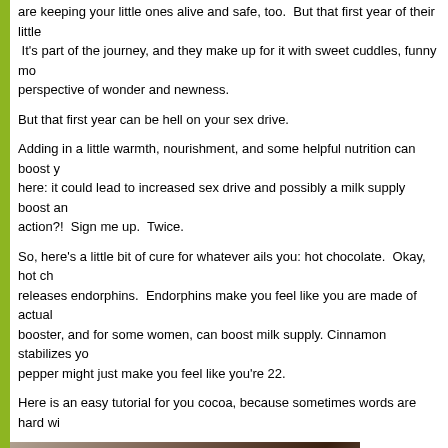are keeping your little ones alive and safe, too.  But that first year of their little It's part of the journey, and they make up for it with sweet cuddles, funny mo perspective of wonder and newness.
But that first year can be hell on your sex drive.
Adding in a little warmth, nourishment, and some helpful nutrition can boost y here: it could lead to increased sex drive and possibly a milk supply boost an action?!  Sign me up.  Twice.
So, here's a little bit of cure for whatever ails you: hot chocolate.  Okay, hot ch releases endorphins.  Endorphins make you feel like you are made of actual booster, and for some women, can boost milk supply. Cinnamon stabilizes yo pepper might just make you feel like you're 22.
Here is an easy tutorial for you cocoa, because sometimes words are hard wi
[Figure (screenshot): Video thumbnail showing 'Hot Mama Cocoa' with Our Stable Table badge/logo on left, white text title on dark background, hand scooping cocoa powder visible below]